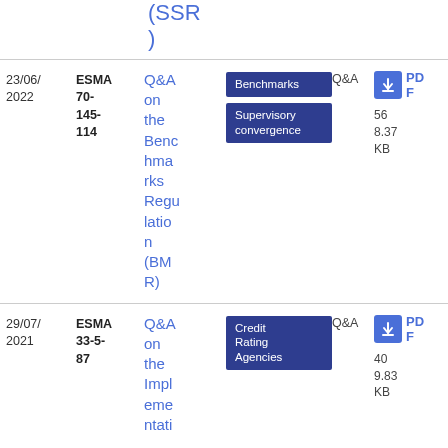(SSR)
| Date | Reference | Title | Tags | Type | Download |
| --- | --- | --- | --- | --- | --- |
| 23/06/2022 | ESMA 70-145-114 | Q&A on the Benchmarks Regulation (BMR) | Benchmarks, Supervisory convergence | Q&A | PDF 568.37 KB |
| 29/07/2021 | ESMA 33-5-87 | Q&A on the Implementation of ... | Credit Rating Agencies | Q&A | PDF 409.83 KB |